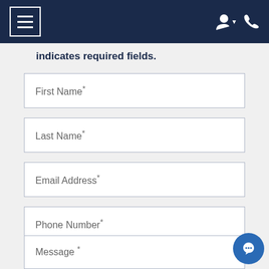Navigation bar with menu button and user/phone icons
indicates required fields.
First Name*
Last Name*
Email Address*
Phone Number*
Yes, I'd be happy to receive text messages!
Show More
Message *